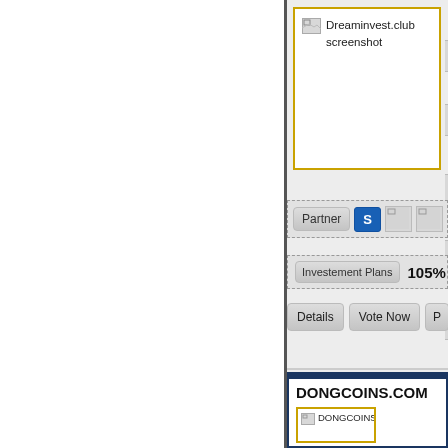[Figure (screenshot): Dreaminvest.club website screenshot placeholder with broken image icon]
Dreaminvest.club screenshot
Partner
S
Investement Plans
105%
Details
Vote Now
DONGCOINS.COM
[Figure (screenshot): DONGCOINS.COM website screenshot placeholder with broken image icon]